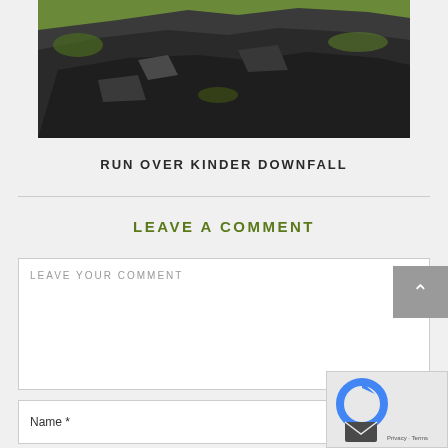[Figure (photo): Outdoor photo of rocky terrain with dark stones and green moss/grass, shown from an aerial or close-up perspective]
RUN OVER KINDER DOWNFALL
LEAVE A COMMENT
LEAVE YOUR COMMENT
Name *